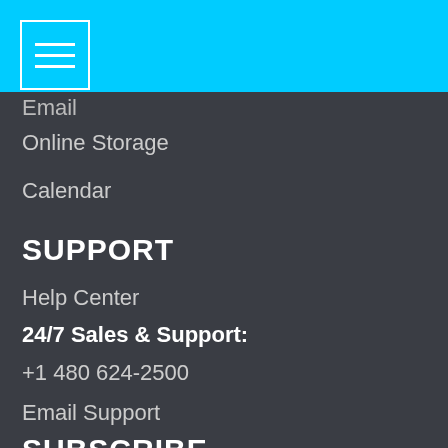[Figure (screenshot): Cyan navigation bar with hamburger menu icon (three horizontal lines in a white bordered box)]
Email
Online Storage
Calendar
SUPPORT
Help Center
24/7 Sales & Support:
+1 480 624-2500
Email Support
SUBSCRIBE
Enter name
Enter email
SUBSCRIBE